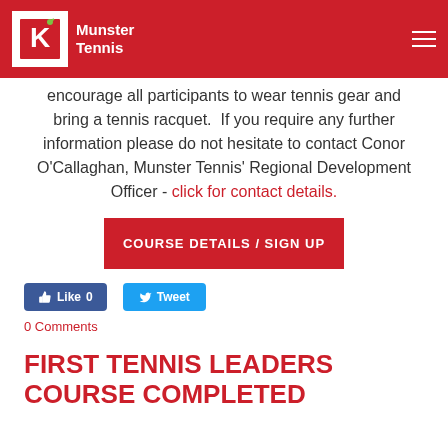Munster Tennis
encourage all participants to wear tennis gear and bring a tennis racquet.  If you require any further information please do not hesitate to contact Conor O'Callaghan, Munster Tennis' Regional Development Officer - click for contact details.
COURSE DETAILS / SIGN UP
Like 0   Tweet
0 Comments
FIRST TENNIS LEADERS COURSE COMPLETED